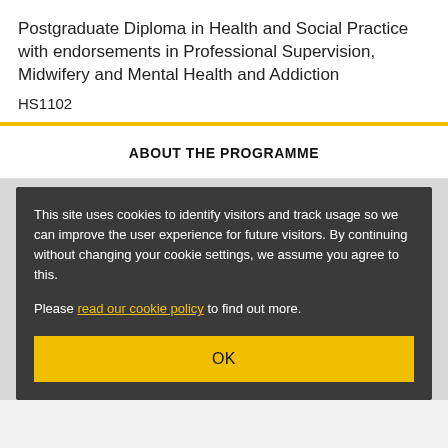Postgraduate Diploma in Health and Social Practice with endorsements in Professional Supervision, Midwifery and Mental Health and Addiction
HS1102
ABOUT THE PROGRAMME
This site uses cookies to identify visitors and track usage so we can improve the user experience for future visitors. By continuing without changing your cookie settings, we assume you agree to this.

Please read our cookie policy to find out more.
OK